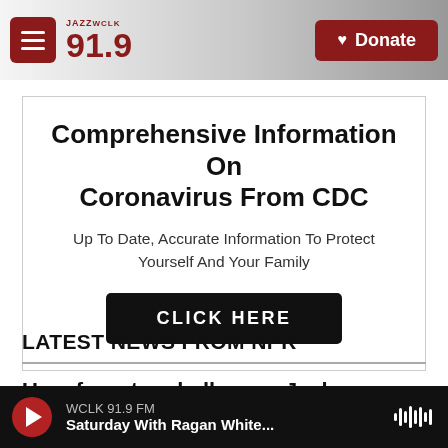JAZZ WCLK 91.9 — Donate
Comprehensive Information On Coronavirus From CDC
Up To Date, Accurate Information To Protect Yourself And Your Family
CLICK HERE
LATEST NEWS FROM NPR
Unsafe water challenges Jackson, Miss., restaurant
WCLK 91.9 FM — Saturday With Ragan White...